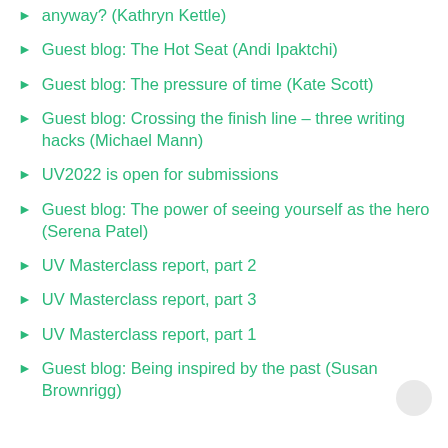anyway? (Kathryn Kettle)
Guest blog: The Hot Seat (Andi Ipaktchi)
Guest blog: The pressure of time (Kate Scott)
Guest blog: Crossing the finish line – three writing hacks (Michael Mann)
UV2022 is open for submissions
Guest blog: The power of seeing yourself as the hero (Serena Patel)
UV Masterclass report, part 2
UV Masterclass report, part 3
UV Masterclass report, part 1
Guest blog: Being inspired by the past (Susan Brownrigg)